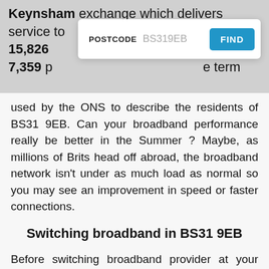Keynsham exchange which delivers service to 15,826 living in 7,359 p e term used by the ONS to describe the residents of BS31 9EB. Can your broadband performance really be better in the Summer ? Maybe, as millions of Brits head off abroad, the broadband network isn't under as much load as normal so you may see an improvement in speed or faster connections.
[Figure (screenshot): A postcode search UI overlay with label 'POSTCODE', placeholder text 'BS319EB', and a blue 'FIND' button.]
Switching broadband in BS31 9EB
Before switching broadband provider at your existing address your reasons for changing will be either; lower cost, increased speed, reliability issues, better customer service and or a change of package.